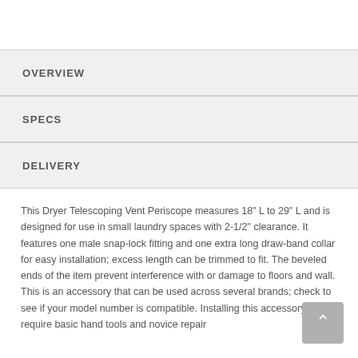OVERVIEW
SPECS
DELIVERY
This Dryer Telescoping Vent Periscope measures 18" L to 29" L and is designed for use in small laundry spaces with 2-1/2" clearance. It features one male snap-lock fitting and one extra long draw-band collar for easy installation; excess length can be trimmed to fit. The beveled ends of the item prevent interference with or damage to floors and wall. This is an accessory that can be used across several brands; check to see if your model number is compatible. Installing this accessory will require basic hand tools and novice repair